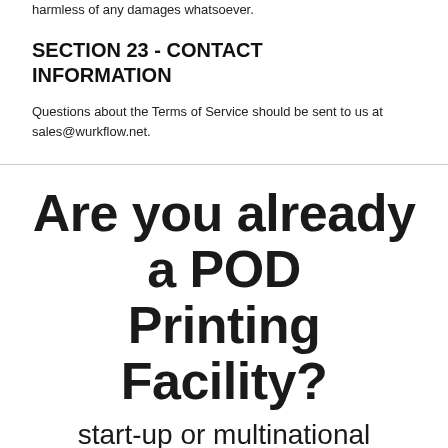harmless of any damages whatsoever.
SECTION 23 - CONTACT INFORMATION
Questions about the Terms of Service should be sent to us at sales@wurkflow.net.
Are you already a POD Printing Facility?
start-up or multinational facilities.  We got you.
Let us hook you up with with cutting edge fulfillment tech. and